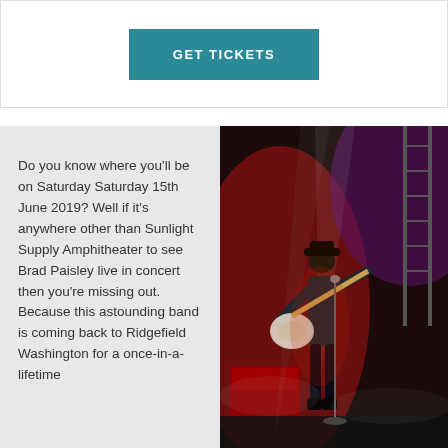GET TICKETS
Do you know where you’ll be on Saturday Saturday 15th June 2019? Well if it’s anywhere other than Sunlight Supply Amphitheater to see Brad Paisley live in concert then you’re missing out. Because this astounding band is coming back to Ridgefield Washington for a once-in-a-lifetime
[Figure (photo): A guitarist performing on a concert stage with dramatic red and purple lighting, smoke effects, and stage equipment visible in the background.]